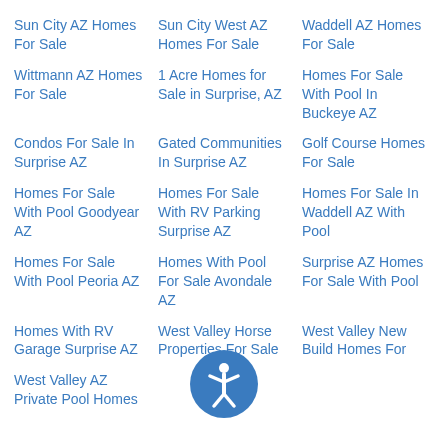Sun City AZ Homes For Sale
Sun City West AZ Homes For Sale
Waddell AZ Homes For Sale
Wittmann AZ Homes For Sale
1 Acre Homes for Sale in Surprise, AZ
Homes For Sale With Pool In Buckeye AZ
Condos For Sale In Surprise AZ
Gated Communities In Surprise AZ
Golf Course Homes For Sale
Homes For Sale With Pool Goodyear AZ
Homes For Sale With RV Parking Surprise AZ
Homes For Sale In Waddell AZ With Pool
Homes For Sale With Pool Peoria AZ
Homes With Pool For Sale Avondale AZ
Homes With RV Garage Surprise AZ
Surprise AZ Homes For Sale With Pool
West Valley Horse Properties For Sale
West Valley New Build Homes For
West Valley AZ Private Pool Homes
[Figure (illustration): Accessibility icon - circular blue badge with a person figure in white]